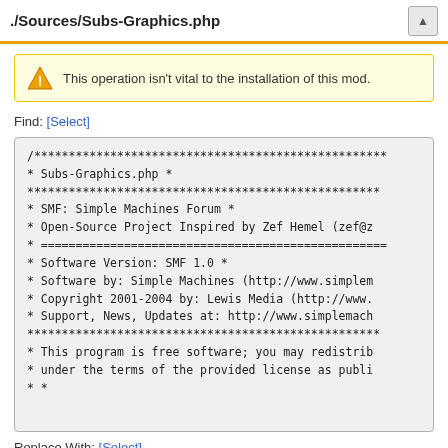./Sources/Subs-Graphics.php
This operation isn't vital to the installation of this mod.
Find: [Select]
/*****************************************************
* Subs-Graphics.php *
*****************************************************
* SMF: Simple Machines Forum *
* Open-Source Project Inspired by Zef Hemel (zef@z
* ================================================
* Software Version: SMF 1.0 *
* Software by: Simple Machines (http://www.simplem
* Copyright 2001-2004 by: Lewis Media (http://www.
* Support, News, Updates at: http://www.simplemach
*****************************************************
* This program is free software; you may redistrib
* under the terms of the provided license as publi
* *
Replace With: [Select]